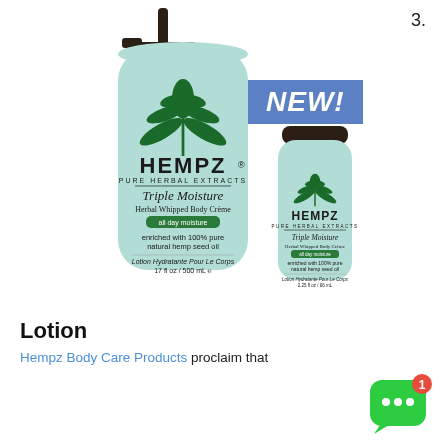3.
[Figure (photo): Two Hempz Pure Herbal Extracts Triple Moisture Herbal Whipped Body Creme bottles — a large 17 fl oz / 500 mL pump bottle and a smaller 2.25 fl oz / 66 mL bottle, both in light mint/aqua color with dark green hemp leaf logo and dark caps. A blue 'NEW!' badge appears in the upper right area of the image.]
Lotion
Hempz Body Care Products proclaim that "they contain triple the hemp" We use hemp...